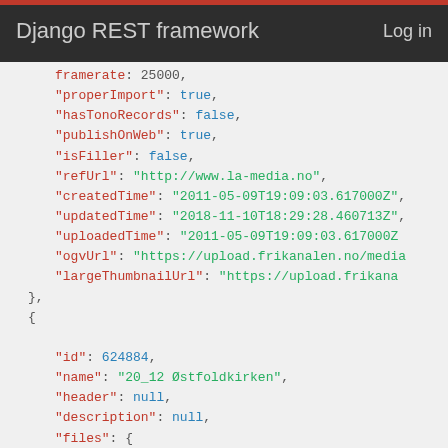Django REST framework   Log in
JSON code snippet showing API response fields including properImport, hasTonoRecords, publishOnWeb, isFiller, refUrl, createdTime, updatedTime, uploadedTime, ogvUrl, largeThumbnailUrl, closing brace, opening brace, id: 624884, name: 20_12 Ostfoldkirken, header: null, description: null, files: { theora, original, smallThumb, medThumb, broadcast }